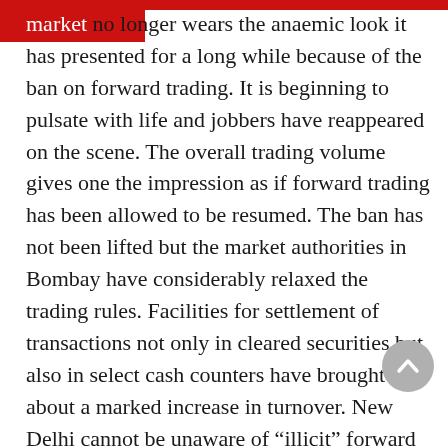market no longer wears the anaemic look it has presented for a long while because of the ban on forward trading. It is beginning to pulsate with life and jobbers have reappeared on the scene. The overall trading volume gives one the impression as if forward trading has been allowed to be resumed. The ban has not been lifted but the market authorities in Bombay have considerably relaxed the trading rules. Facilities for settlement of transactions not only in cleared securities but also in select cash counters have brought about a marked increase in turnover. New Delhi cannot be unaware of "illicit" forward trading for which it itself is no less to blame. It is the inordinate d in lifting the more than 13- month old ban which has forced the market authorities to resort to